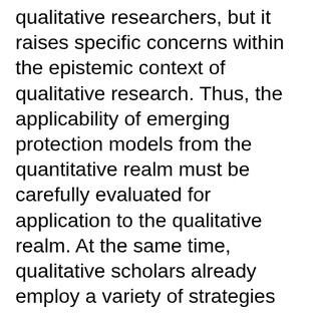qualitative researchers, but it raises specific concerns within the epistemic context of qualitative research. Thus, the applicability of emerging protection models from the quantitative realm must be carefully evaluated for application to the qualitative realm. At the same time, qualitative scholars already employ a variety of strategies for human-participant protection implicitly or informally during the research process. In this practice paper, we assess available strategies for protecting human participants and how they can be deployed. We describe a spectrum of possible data management options, such as de-identification and applying access controls, including some already employed by the Qualitative Data Repository (QDR), but also with